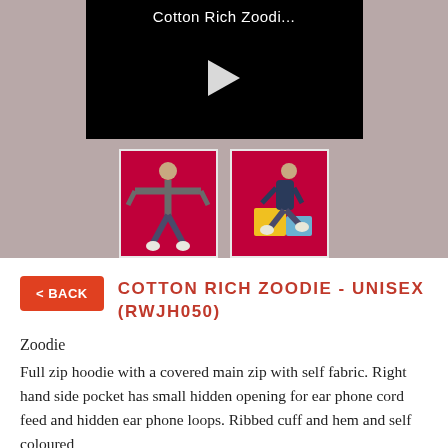[Figure (screenshot): Video thumbnail showing 'Cotton Rich Zoodi...' title with play button on black background, on a taupe/mauve background. Below are two product photo thumbnails on red backgrounds: one showing a person with arms outstretched wearing a hoodie, another showing a person sitting on colorful blocks wearing a dark hoodie.]
COTTON RICH ZOODIE - UNISEX (RWJH050)
Zoodie
Full zip hoodie with a covered main zip with self fabric. Right hand side pocket has small hidden opening for ear phone cord feed and hidden ear phone loops. Ribbed cuff and hem and self coloured